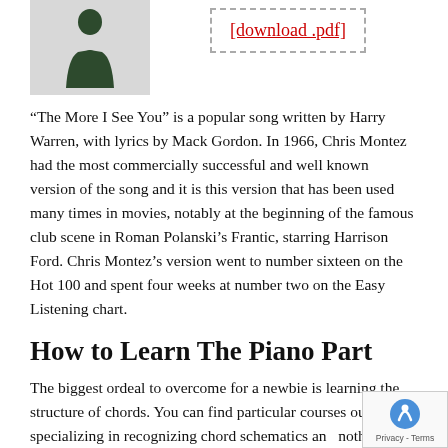[Figure (photo): Silhouette of a person (dark figure against light background), cropped headshot/upper body photo]
[Figure (other): Download PDF link button with dashed border: [download .pdf]]
“The More I See You” is a popular song written by Harry Warren, with lyrics by Mack Gordon. In 1966, Chris Montez had the most commercially successful and well known version of the song and it is this version that has been used many times in movies, notably at the beginning of the famous club scene in Roman Polanski’s Frantic, starring Harrison Ford. Chris Montez’s version went to number sixteen on the Hot 100 and spent four weeks at number two on the Easy Listening chart.
How to Learn The Piano Part
The biggest ordeal to overcome for a newbie is learning the structure of chords. You can find particular courses out there specializing in recognizing chord schematics and nothing else. The more time you are able to spend learning